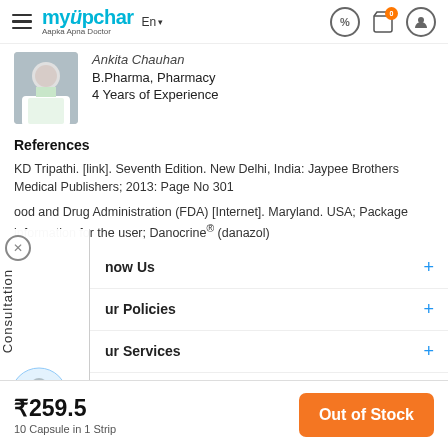myupchar — Aapka Apna Doctor | En | navigation icons
B.Pharma, Pharmacy
4 Years of Experience
References
KD Tripathi. [link]. Seventh Edition. New Delhi, India: Jaypee Brothers Medical Publishers; 2013: Page No 301
ood and Drug Administration (FDA) [Internet]. Maryland. USA; Package information for the user; Danocrine® (danazol)
now Us  +
ur Policies  +
ur Services  +
For Doctors  +
₹259.5
10 Capsule in 1 Strip
Out of Stock